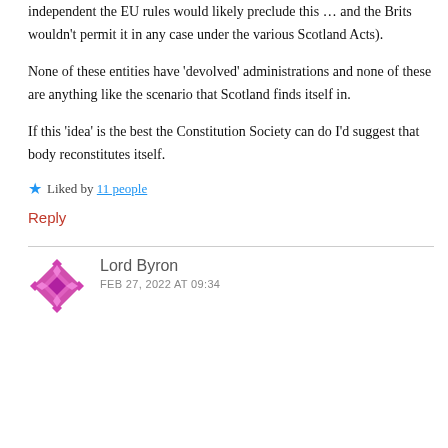independent the EU rules would likely preclude this … and the Brits wouldn't permit it in any case under the various Scotland Acts).
None of these entities have 'devolved' administrations and none of these are anything like the scenario that Scotland finds itself in.
If this 'idea' is the best the Constitution Society can do I'd suggest that body reconstitutes itself.
★ Liked by 11 people
Reply
Lord Byron
FEB 27, 2022 AT 09:34